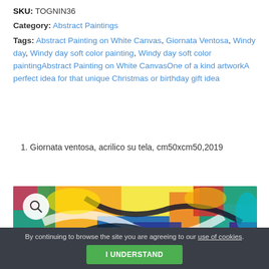SKU: TOGNIN36
Category: Abstract Paintings
Tags: Abstract Painting on White Canvas, Giornata Ventosa, Windy day, Windy day soft color painting, Windy day soft color paintingAbstract Painting on White CanvasOne of a kind artworkA perfect idea for that unique Christmas or birthday gift idea
Giornata ventosa, acrilico su tela, cm50xcm50,2019
[Figure (photo): Close-up of a colorful abstract acrylic painting on white canvas with bold brushstrokes in blue, yellow, orange, green, red, purple, and white colors.]
By continuing to browse the site you are agreeing to our use of cookies.
I UNDERSTAND